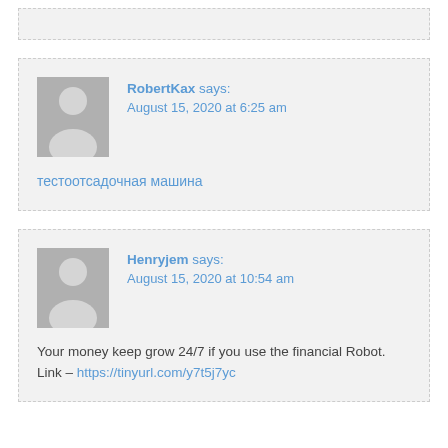RobertKax says: August 15, 2020 at 6:25 am
тестоотсадочная машина
Henryjem says: August 15, 2020 at 10:54 am
Your money keep grow 24/7 if you use the financial Robot.
Link – https://tinyurl.com/y7t5j7yc